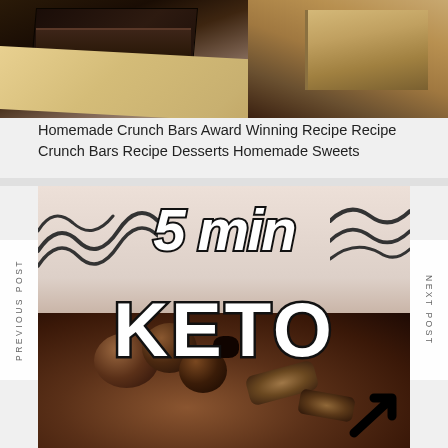[Figure (photo): Photo of homemade crunch bars on dark background with parchment paper]
Homemade Crunch Bars Award Winning Recipe Recipe Crunch Bars Recipe Desserts Homemade Sweets
[Figure (photo): Keto recipe image with large text overlay reading '5 min KETO' with chocolate cookies/truffles in background]
PREVIOUS POST
NEXT POST